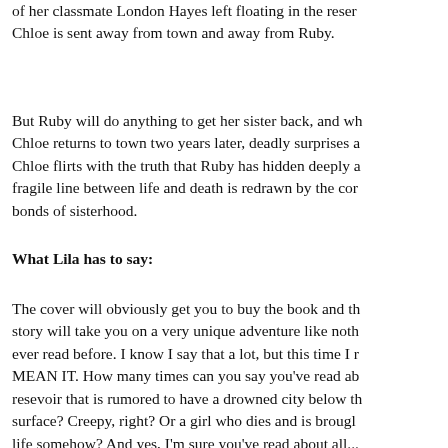of her classmate London Hayes left floating in the reservoir. Chloe is sent away from town and away from Ruby.
But Ruby will do anything to get her sister back, and when Chloe returns to town two years later, deadly surprises await. Chloe flirts with the truth that Ruby has hidden deeply and the fragile line between life and death is redrawn by the complicated bonds of sisterhood.
What Lila has to say:
The cover will obviously get you to buy the book and the story will take you on a very unique adventure like nothing ever read before. I know I say that a lot, but this time I MEAN IT. How many times can you say you've read about a resevoir that is rumored to have a drowned city below the surface? Creepy, right? Or a girl who dies and is brought to life somehow? And yes, I'm sure you've read about all...